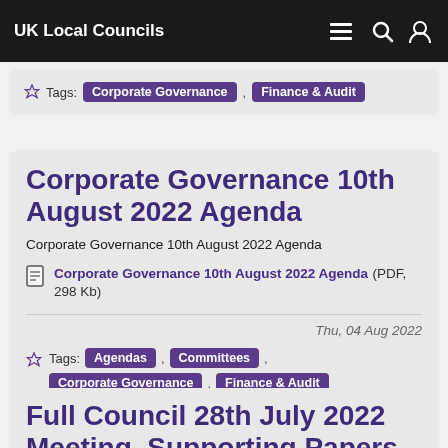UK Local Councils
Tags: Corporate Governance , Finance & Audit
Corporate Governance 10th August 2022 Agenda
Corporate Governance 10th August 2022 Agenda
Corporate Governance 10th August 2022 Agenda (PDF, 298 Kb)
Thu, 04 Aug 2022
Tags: Agendas , Committees , Corporate Governance , Finance & Audit
Full Council 28th July 2022 Meeting, Supporting Papers, Clerks Report